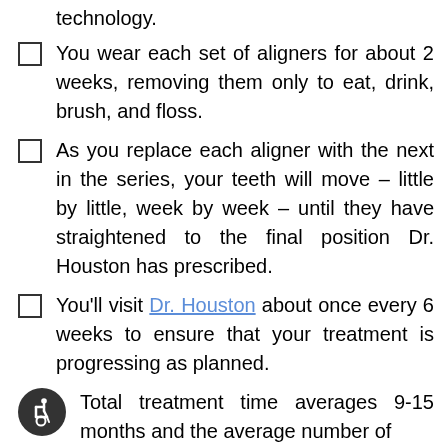technology.
You wear each set of aligners for about 2 weeks, removing them only to eat, drink, brush, and floss.
As you replace each aligner with the next in the series, your teeth will move – little by little, week by week – until they have straightened to the final position Dr. Houston has prescribed.
You'll visit Dr. Houston about once every 6 weeks to ensure that your treatment is progressing as planned.
Total treatment time averages 9-15 months and the average number of